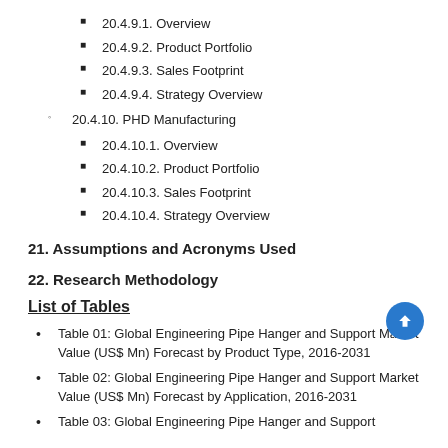20.4.9.1. Overview
20.4.9.2. Product Portfolio
20.4.9.3. Sales Footprint
20.4.9.4. Strategy Overview
20.4.10. PHD Manufacturing
20.4.10.1. Overview
20.4.10.2. Product Portfolio
20.4.10.3. Sales Footprint
20.4.10.4. Strategy Overview
21. Assumptions and Acronyms Used
22. Research Methodology
List of Tables
Table 01: Global Engineering Pipe Hanger and Support Market Value (US$ Mn) Forecast by Product Type, 2016-2031
Table 02: Global Engineering Pipe Hanger and Support Market Value (US$ Mn) Forecast by Application, 2016-2031
Table 03: Global Engineering Pipe Hanger and Support